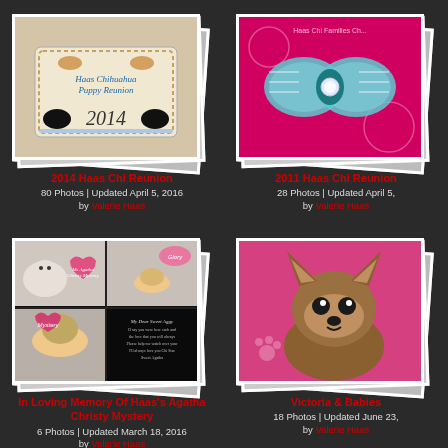[Figure (photo): Photo album stack showing a cake decorated with 'Haas Chihuahua Puppy Reunion 2014' with black chihuahua silhouettes]
2014 Haas Chi Reunion
80 Photos | Updated April 5, 2016
by Valerie Haas
[Figure (photo): Photo album stack showing a decorative pink and teal bow with rhinestone for 2011 Haas Chi Reunion]
2011 Haas Chi Reunion
28 Photos | Updated April 5,
by Valerie Haas
[Figure (photo): Photo album stack showing chihuahua puppy memorial collage for Haas's Agatha Christy Mystery]
In Loving Memory Of Haas's Agatha Christy Mystery
6 Photos | Updated March 18, 2016
by Valerie Haas
[Figure (photo): Photo album stack showing a chihuahua dog on pink background - Victoria]
Victoria & Babies
18 Photos | Updated June 23,
by Valerie Haas